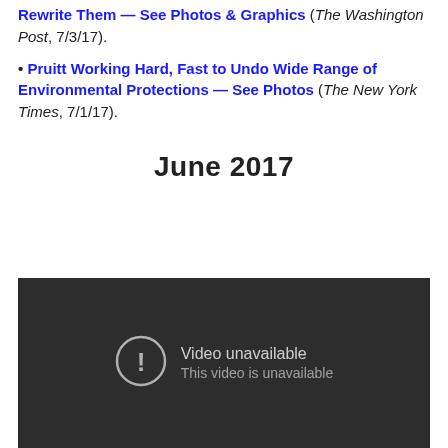Rewrite Them — See Photos & Graphics (The Washington Post, 7/3/17).
• Pruitt Working Hard, Fast to Undo Wide Range of Environmental Protections — See Photos (The New York Times, 7/1/17).
June 2017
[Figure (screenshot): Embedded video player showing 'Video unavailable — This video is unavailable' error message on dark background.]